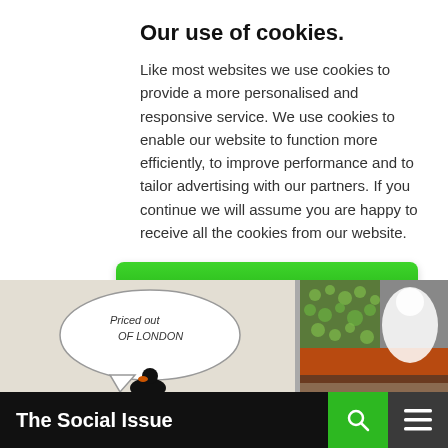Our use of cookies.
Like most websites we use cookies to provide a more personalised and responsive service. We use cookies to enable our website to function more efficiently, to improve performance and to tailor advertising with our partners. If you continue we will assume you are happy to receive all the cookies from our website.
Click To Continue
More on cookies
[Figure (photo): Street art photo showing graffiti on walls: left side shows a white wall with a speech bubble drawing reading 'Priced out OF LONDON' with a black bird figure; right side shows colorful green and orange graffiti murals.]
The Social Issue